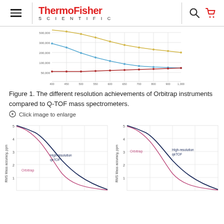ThermoFisher SCIENTIFIC
[Figure (continuous-plot): Line chart showing resolution achievements of Orbitrap instruments compared to Q-TOF mass spectrometers. Three curves: yellow (top, higher values), blue (middle, decreasing), and red (bottom, slightly increasing). X-axis appears to be mass range, y-axis is resolution.]
Figure 1. The different resolution achievements of Orbitrap instruments compared to Q-TOF mass spectrometers.
Click image to enlarge
[Figure (continuous-plot): Left curve plot: RMS Mass accuracy (ppm) vs x-axis. Two curves labeled 'Orbitrap' (pink/red, lower values, steeper descent) and 'High-resolution qeTOF' (dark blue, slightly higher, descending). Y-axis from 1 to 5 ppm.]
[Figure (continuous-plot): Right curve plot: RMS Mass accuracy (ppm) vs x-axis. Two curves labeled 'Orbitrap' (pink/red, lower values, steeper descent) and 'High-resolution qeTOF' (dark blue, slightly higher, descending). Y-axis from 1 to 5 ppm.]